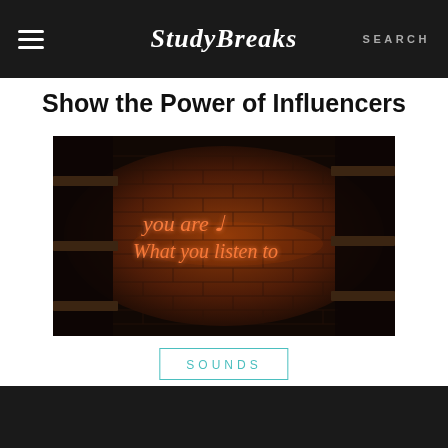Study Breaks  SEARCH
Show the Power of Influencers
[Figure (photo): Photo of a brick wall with a neon sign reading 'you are ♪ What you listen to', surrounded by dark wooden shelves with books and items on both sides.]
SOUNDS